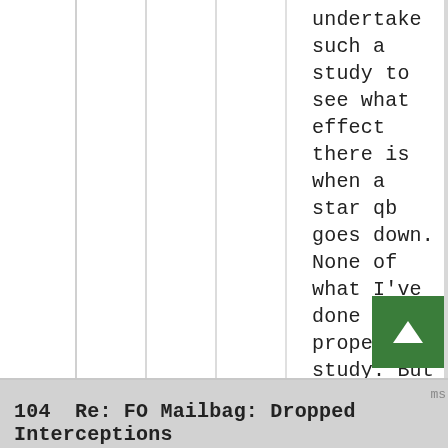undertake such a study to see what effect there is when a star qb goes down. None of what I've done is a proper study. But what seems to jump out at me when I do my little studies is there just isn't much difference in wins and loses when "good" qb's get injured.
104  Re: FO Mailbag: Dropped Interceptions